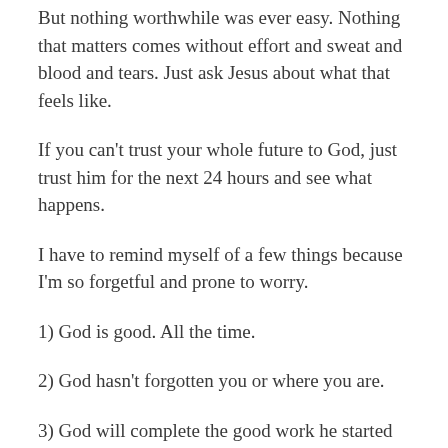But nothing worthwhile was ever easy. Nothing that matters comes without effort and sweat and blood and tears. Just ask Jesus about what that feels like.
If you can't trust your whole future to God, just trust him for the next 24 hours and see what happens.
I have to remind myself of a few things because I'm so forgetful and prone to worry.
1) God is good. All the time.
2) God hasn't forgotten you or where you are.
3) God will complete the good work he started in you.
May we not only learn to wait, but to wait well and